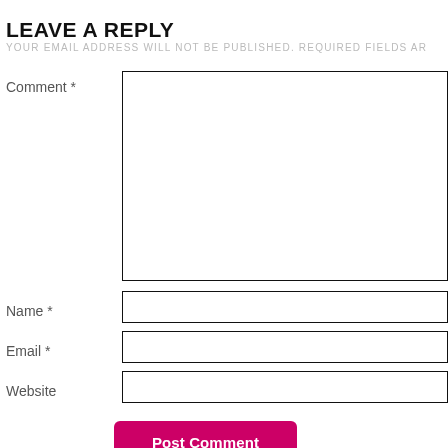LEAVE A REPLY
YOUR EMAIL ADDRESS WILL NOT BE PUBLISHED. REQUIRED FIELDS AR
Comment *
Name *
Email *
Website
Post Comment